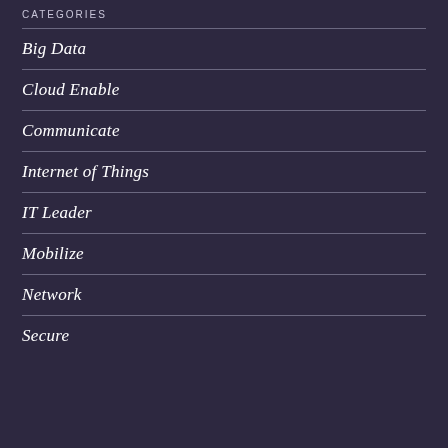CATEGORIES
Big Data
Cloud Enable
Communicate
Internet of Things
IT Leader
Mobilize
Network
Secure